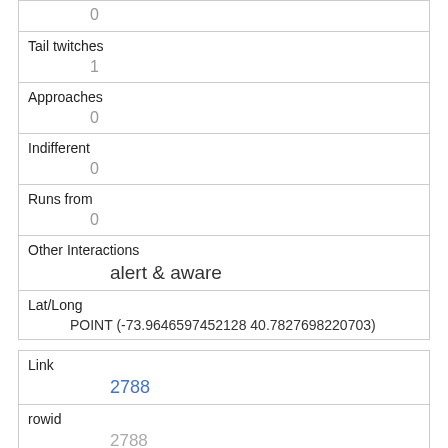|  | 0 |
| Tail twitches | 1 |
| Approaches | 0 |
| Indifferent | 0 |
| Runs from | 0 |
| Other Interactions | alert & aware |
| Lat/Long | POINT (-73.9646597452128 40.7827698220703) |
| Link | 2788 |
| rowid | 2788 |
| longitude | -73.9647845655965 |
| latitude |  |